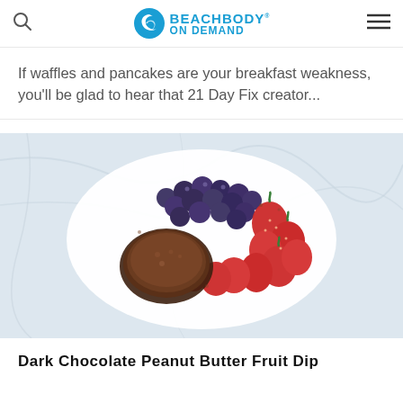Beachbody On Demand
If waffles and pancakes are your breakfast weakness, you'll be glad to hear that 21 Day Fix creator...
[Figure (photo): Overhead view of a white plate on a marble surface with blueberries, strawberries, and a bowl of dark chocolate peanut butter dip dusted with cocoa powder]
Dark Chocolate Peanut Butter Fruit Dip